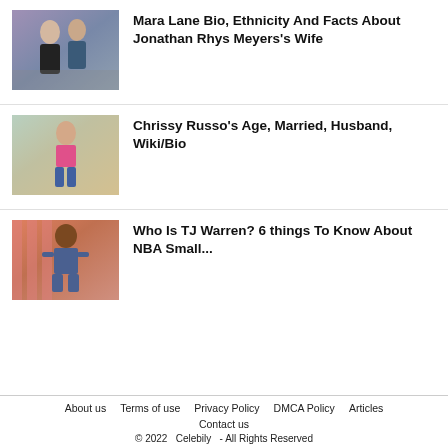[Figure (photo): Photo of Mara Lane and Jonathan Rhys Meyers together at an event]
Mara Lane Bio, Ethnicity And Facts About Jonathan Rhys Meyers’s Wife
[Figure (photo): Photo of Chrissy Russo standing at an event in a pink top]
Chrissy Russo’s Age, Married, Husband, Wiki/Bio
[Figure (photo): Photo of TJ Warren NBA player]
Who Is TJ Warren? 6 things To Know About NBA Small...
About us   Terms of use   Privacy Policy   DMCA Policy   Articles   Contact us   © 2022   Celebily   - All Rights Reserved